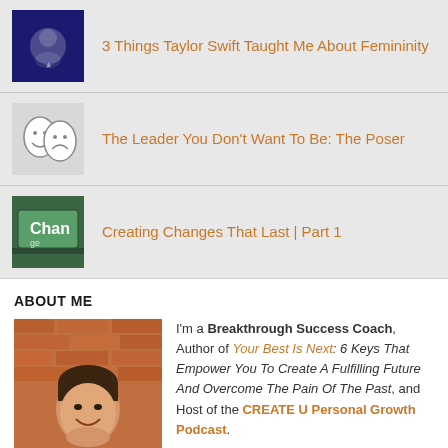3 Things Taylor Swift Taught Me About Femininity
The Leader You Don't Want To Be: The Poser
Creating Changes That Last | Part 1
ABOUT ME
[Figure (photo): Headshot of a smiling middle-aged man in a suit jacket, standing in front of a brick wall]
I'm a Breakthrough Success Coach, Author of Your Best Is Next: 6 Keys That Empower You To Create A Fulfilling Future And Overcome The Pain Of The Past, and Host of the CREATE U Personal Growth Podcast.
I help high achievers, business leaders, and entrepreneurs — people just like you — gain the clarity.